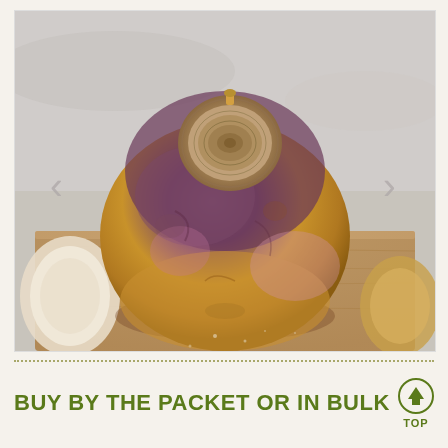[Figure (photo): Close-up photograph of a whole rutabaga (swede) on a wooden cutting board. The rutabaga has a purple-brown and golden-yellow skin with a spiral pattern on top. Partial pieces of cut rutabaga are visible in the background. Navigation arrows (< >) are overlaid on the left and right sides of the image.]
BUY BY THE PACKET OR IN BULK
[Figure (other): Circular 'TOP' button with an upward arrow icon, in olive/dark green color]